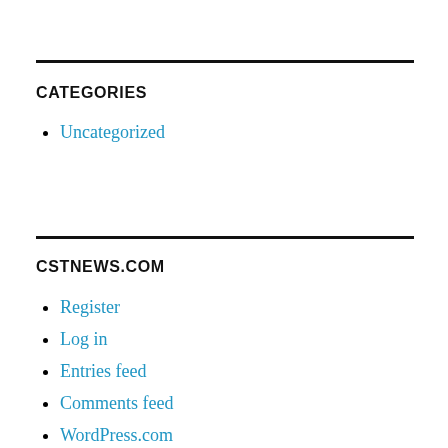CATEGORIES
Uncategorized
CSTNEWS.COM
Register
Log in
Entries feed
Comments feed
WordPress.com